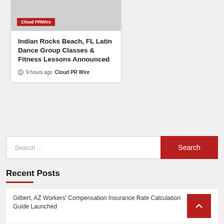[Figure (photo): Article thumbnail image with 'Cloud PRWire' red badge label]
Indian Rocks Beach, FL Latin Dance Group Classes & Fitness Lessons Announced
9 hours ago  Cloud PR Wire
Search ...
Search
Recent Posts
Gilbert, AZ Workers' Compensation Insurance Rate Calculation Guide Launched
ACA Marketplace For Sobriety Addiction Rehab...